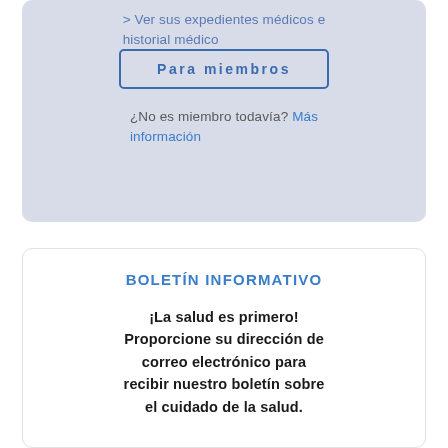> Ver sus expedientes médicos e historial médico
Para miembros
¿No es miembro todavía? Más información
BOLETÍN INFORMATIVO
¡La salud es primero! Proporcione su dirección de correo electrónico para recibir nuestro boletín sobre el cuidado de la salud.